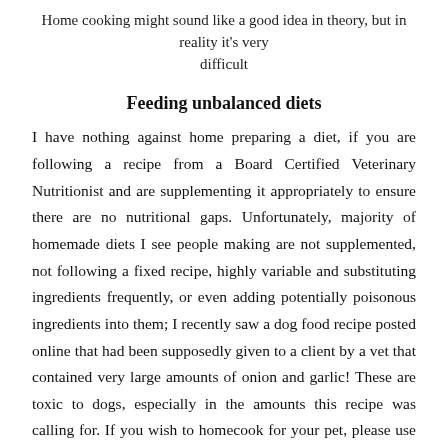Home cooking might sound like a good idea in theory, but in reality it's very difficult
Feeding unbalanced diets
I have nothing against home preparing a diet, if you are following a recipe from a Board Certified Veterinary Nutritionist and are supplementing it appropriately to ensure there are no nutritional gaps. Unfortunately, majority of homemade diets I see people making are not supplemented, not following a fixed recipe, highly variable and substituting ingredients frequently, or even adding potentially poisonous ingredients into them; I recently saw a dog food recipe posted online that had been supposedly given to a client by a vet that contained very large amounts of onion and garlic! These are toxic to dogs, especially in the amounts this recipe was calling for. If you wish to homecook for your pet, please use BalanceIT (along with their